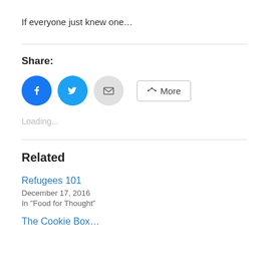If everyone just knew one…
Share:
[Figure (other): Social share buttons: Facebook (blue circle), Twitter (blue circle), Email (grey circle), and More button]
Loading...
Related
Refugees 101
December 17, 2016
In "Food for Thought"
The Cookie Box…